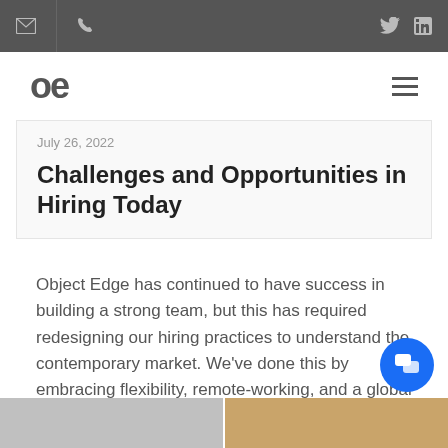Object Edge website header with email, phone, Twitter, LinkedIn icons and logo
July 26, 2022
Challenges and Opportunities in Hiring Today
Object Edge has continued to have success in building a strong team, but this has required redesigning our hiring practices to understand the contemporary market. We've done this by embracing flexibility, remote-working, and a global team.
[Figure (photo): Two partial images at bottom of page: left appears to be a newspaper/document, right appears to be a person]